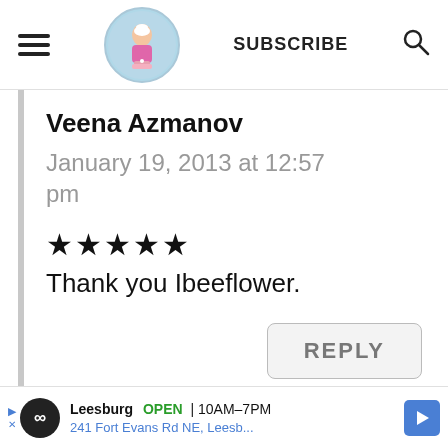Veena Azmanov — SUBSCRIBE [logo] [search]
Veena Azmanov
January 19, 2013 at 12:57 pm
★★★★★
Thank you Ibeeflower.
REPLY
[Figure (infographic): Ad banner: Leesburg OPEN 10AM-7PM, 241 Fort Evans Rd NE, Leesb...]